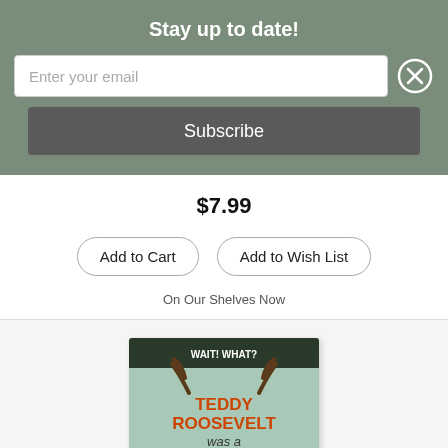Stay up to date!
Enter your email
Subscribe
$7.99
Add to Cart
Add to Wish List
On Our Shelves Now
[Figure (illustration): Book cover of 'Teddy Roosevelt Was a Moose? (Wait! What?)' by Dan Gutman, showing a cartoon illustration of Teddy Roosevelt with antlers, two children, on a light green background with orange and brown text.]
Teddy Roosevelt Was a Moose? (Wait! What?) (Paperback)
By Dan Gutman